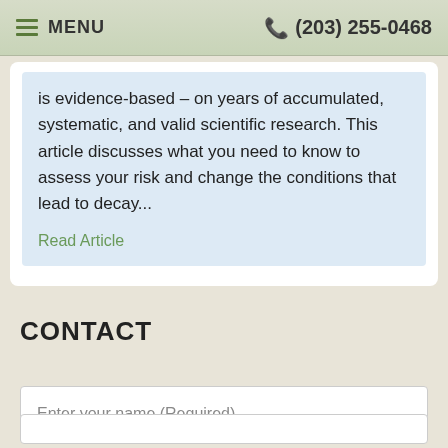MENU   (203) 255-0468
is evidence-based – on years of accumulated, systematic, and valid scientific research. This article discusses what you need to know to assess your risk and change the conditions that lead to decay...
Read Article
CONTACT
Enter your name (Required)